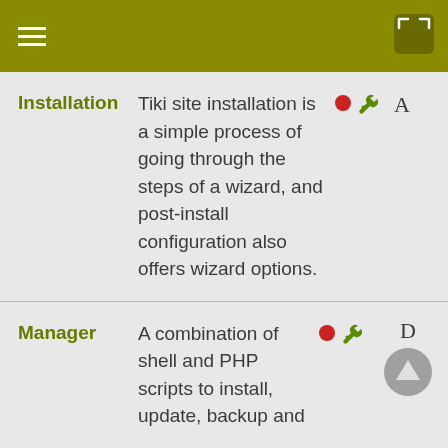Navigation header with hamburger menu
Installation
Tiki site installation is a simple process of going through the steps of a wizard, and post-install configuration also offers wizard options.
Manager
A combination of shell and PHP scripts to install, update, backup and